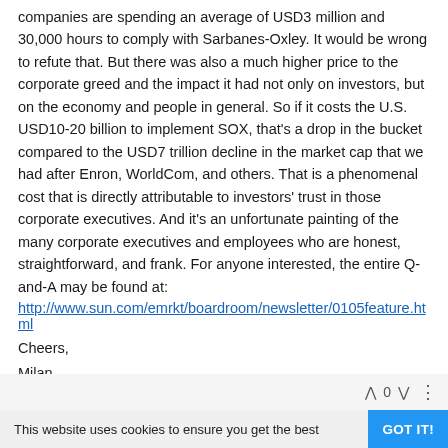companies are spending an average of USD3 million and 30,000 hours to comply with Sarbanes-Oxley. It would be wrong to refute that. But there was also a much higher price to the corporate greed and the impact it had not only on investors, but on the economy and people in general. So if it costs the U.S. USD10-20 billion to implement SOX, that's a drop in the bucket compared to the USD7 trillion decline in the market cap that we had after Enron, WorldCom, and others. That is a phenomenal cost that is directly attributable to investors' trust in those corporate executives. And it's an unfortunate painting of the many corporate executives and employees who are honest, straightforward, and frank. For anyone interested, the entire Q-and-A may be found at:
http://www.sun.com/emrkt/boardroom/newsletter/0105feature.html
Cheers,
Milan